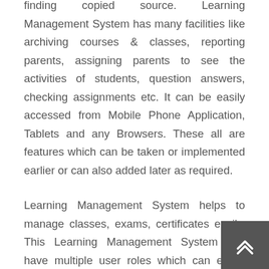finding copied source. Learning Management System has many facilities like archiving courses & classes, reporting parents, assigning parents to see the activities of students, question answers, checking assignments etc. It can be easily accessed from Mobile Phone Application, Tablets and any Browsers. These all are features which can be taken or implemented earlier or can also added later as required.
Learning Management System helps to manage classes, exams, certificates easily. This Learning Management System can have multiple user roles which can easily show the performance of classes, flow of classes. These all reports and features can be assigned by super admin where a super admin can assign